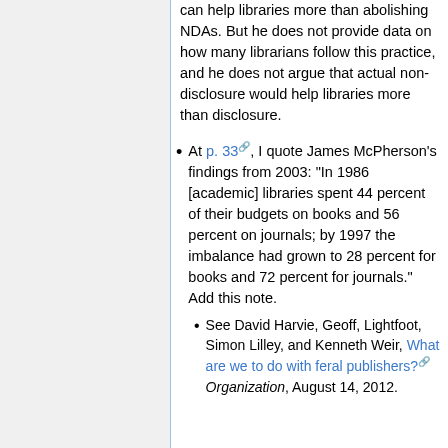can help libraries more than abolishing NDAs. But he does not provide data on how many librarians follow this practice, and he does not argue that actual non-disclosure would help libraries more than disclosure.
At p. 33, I quote James McPherson's findings from 2003: "In 1986 [academic] libraries spent 44 percent of their budgets on books and 56 percent on journals; by 1997 the imbalance had grown to 28 percent for books and 72 percent for journals." Add this note.
See David Harvie, Geoff, Lightfoot, Simon Lilley, and Kenneth Weir, What are we to do with feral publishers? Organization, August 14, 2012.